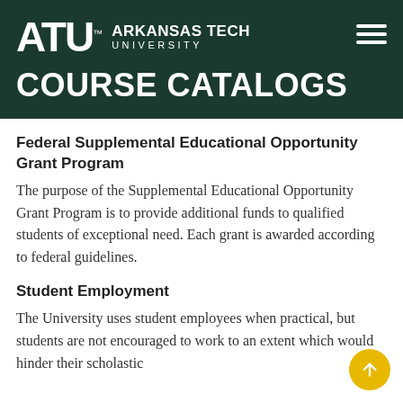[Figure (logo): Arkansas Tech University logo with ATU letters and university name in dark green header]
COURSE CATALOGS
Federal Supplemental Educational Opportunity Grant Program
The purpose of the Supplemental Educational Opportunity Grant Program is to provide additional funds to qualified students of exceptional need. Each grant is awarded according to federal guidelines.
Student Employment
The University uses student employees when practical, but students are not encouraged to work to an extent which would hinder their scholastic